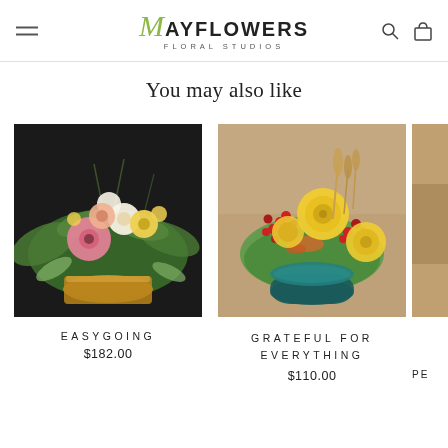Mayflowers Floral Studios — navigation header
You may also like
[Figure (photo): Floral arrangement with pink gerbera, yellow roses, white tulips, eucalyptus in a gold container — product: Easygoing]
EASYGOING
$182.00
[Figure (photo): Floral arrangement with yellow garden roses, red berries, green sedum in a dark teal vase — product: Grateful For Everything]
GRATEFUL FOR EVERYTHING
$110.00
[Figure (photo): Partial view of a third product (PE...) cut off at right edge]